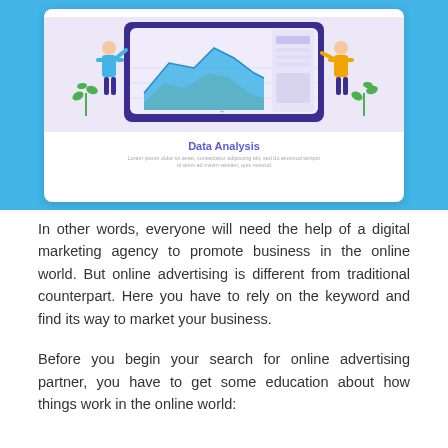[Figure (illustration): A flat-style illustration on a blue background showing a presentation slide card. The card has a purple-framed tablet/screen graphic with two people (one in blue holding a chart, one in yellow interacting with the screen), an area chart in blue and orange, and decorative plants. Below the graphic, the slide title reads 'Data Analysis' in purple with lorem ipsum placeholder text beneath it.]
In other words, everyone will need the help of a digital marketing agency to promote business in the online world. But online advertising is different from traditional counterpart. Here you have to rely on the keyword and find its way to market your business.
Before you begin your search for online advertising partner, you have to get some education about how things work in the online world: